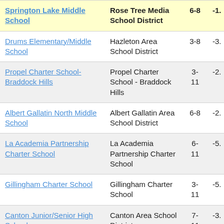| School | District | Grades | Score |
| --- | --- | --- | --- |
| Springton Lake Middle School | Rose Tree Media School District | 6-8 | -1. |
| Drums Elementary/Middle School | Hazleton Area School District | 3-8 | -3. |
| Propel Charter School-Braddock Hills | Propel Charter School - Braddock Hills | 3-11 | -2. |
| Albert Gallatin North Middle School | Albert Gallatin Area School District | 6-8 | -2. |
| La Academia Partnership Charter School | La Academia Partnership Charter School | 6-11 | -5. |
| Gillingham Charter School | Gillingham Charter School | 3-11 | -5. |
| Canton Junior/Senior High School | Canton Area School District | 7-11 | -3. |